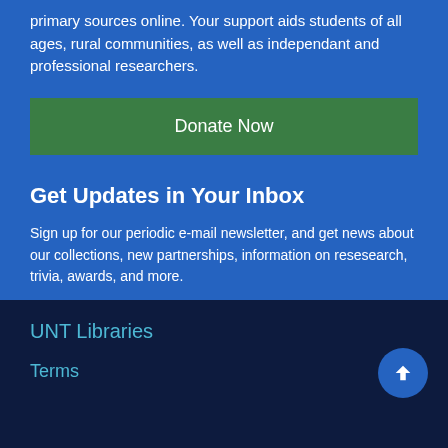primary sources online. Your support aids students of all ages, rural communities, as well as independant and professional researchers.
Donate Now
Get Updates in Your Inbox
Sign up for our periodic e-mail newsletter, and get news about our collections, new partnerships, information on resesearch, trivia, awards, and more.
Your Email Address  Subscribe
UNT Libraries
Terms